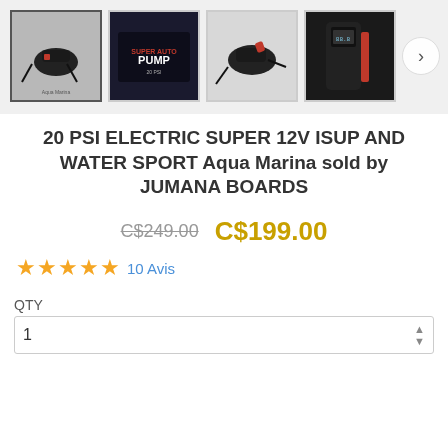[Figure (photo): Product image gallery showing 4 thumbnail images of an electric pump (Aqua Marina). First thumbnail is selected with border. Images show: pump device with cables, product box labeled PUMP, side view of pump, and close-up of pump body with digital display. A next arrow button is visible on the right.]
20 PSI ELECTRIC SUPER 12V ISUP AND WATER SPORT Aqua Marina sold by JUMANA BOARDS
C$249.00  C$199.00
★★★★★ 10 Avis
QTY
1